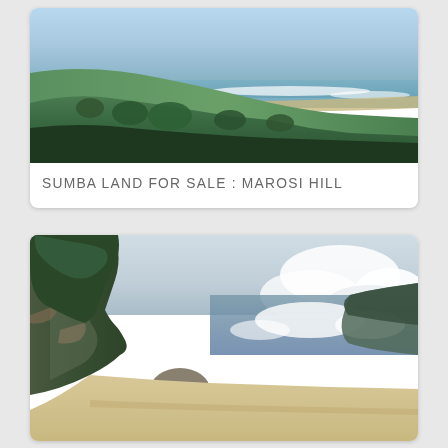[Figure (photo): Aerial/elevated coastal landscape view showing green tropical vegetation, a sandy beach, ocean waves, and blue sky — Marosi Hill, Sumba]
SUMBA LAND FOR SALE : MAROSI HILL
[Figure (photo): Ground-level coastal beach photo showing rocky cliffs covered with dense vegetation on the left, white sandy beach, large ocean waves, and boulders — Sumba coastline]